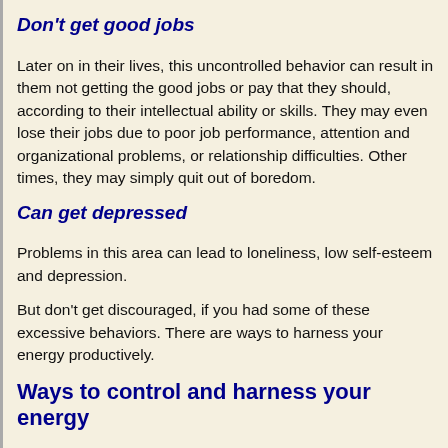Don't get good jobs
Later on in their lives, this uncontrolled behavior can result in them not getting the good jobs or pay that they should, according to their intellectual ability or skills. They may even lose their jobs due to poor job performance, attention and organizational problems, or relationship difficulties. Other times, they may simply quit out of boredom.
Can get depressed
Problems in this area can lead to loneliness, low self-esteem and depression.
But don't get discouraged, if you had some of these excessive behaviors. There are ways to harness your energy productively.
Ways to control and harness your energy
Following are some ideas on how to control your tendency to get distracted, to make silly mistakes, or to be hyperactive or impulsive and to turn that energy into creative and useful